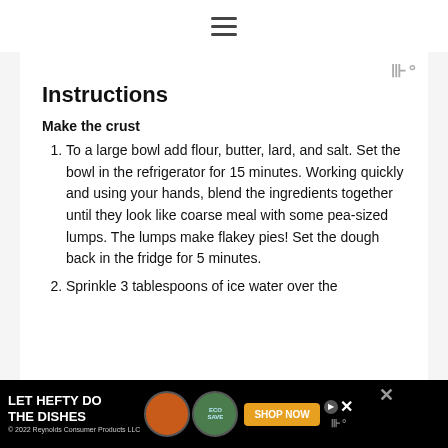≡
Instructions
Make the crust
To a large bowl add flour, butter, lard, and salt. Set the bowl in the refrigerator for 15 minutes. Working quickly and using your hands, blend the ingredients together until they look like coarse meal with some pea-sized lumps. The lumps make flakey pies! Set the dough back in the fridge for 5 minutes.
Sprinkle 3 tablespoons of ice water over the
[Figure (other): Advertisement banner: LET HEFTY DO THE DISHES with product images and SHOP NOW button]